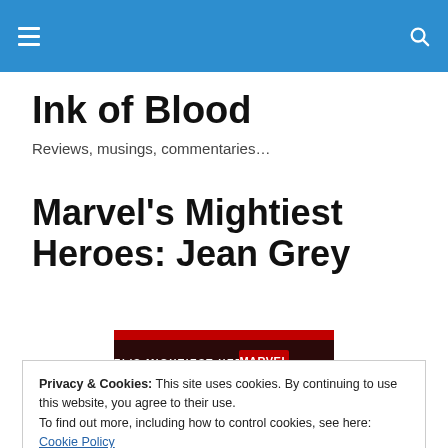Ink of Blood — navigation bar with hamburger menu and search icon
Ink of Blood
Reviews, musings, commentaries…
Marvel's Mightiest Heroes: Jean Grey
[Figure (illustration): Book cover banner reading MARVEL'S MIGHTIEST HEROES MARVEL on a dark red/black background]
Privacy & Cookies: This site uses cookies. By continuing to use this website, you agree to their use.
To find out more, including how to control cookies, see here: Cookie Policy
Close and accept